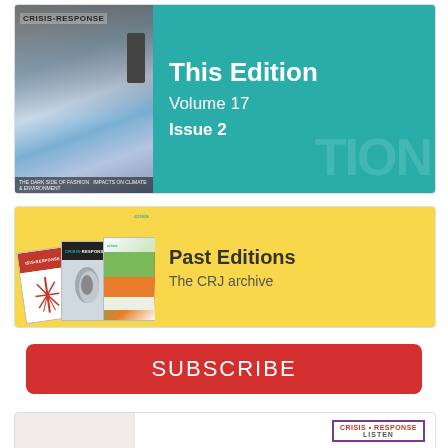[Figure (illustration): This Edition banner: teal background with Crisis Response magazine cover on left (showing industrial smoke/fashion imagery), text on right reads 'This Edition Volume 17 Issue 2']
[Figure (illustration): Past Editions banner: yellow background with stack of Crisis Response journal covers on left, text on right reads 'Past Editions The CRJ archive']
SUBSCRIBE
[Figure (illustration): Partial bottom card showing a Crisis Response magazine listen/podcast section, partially cut off]